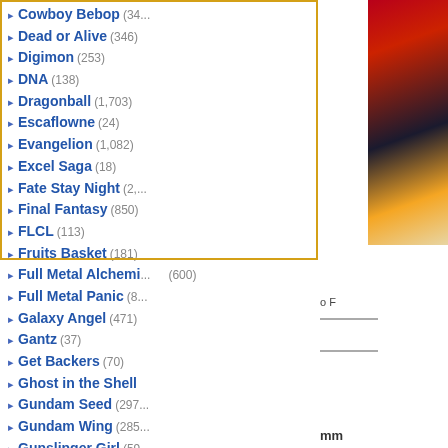Cowboy Bebop (34...)
Dead or Alive (346)
Digimon (253)
DNA (138)
Dragonball (1,703)
Escaflowne (24)
Evangelion (1,082)
Excel Saga (18)
Fate Stay Night (2,...)
Final Fantasy (850)
FLCL (113)
Fruits Basket (181)
Full Metal Alchemi... (600)
Full Metal Panic (8...)
Galaxy Angel (471)
Gantz (37)
Get Backers (70)
Ghost in the Shell
Gundam Seed (297...)
Gundam Wing (285...)
Gunslinger Girl (59...)
Hack Sign (78)
Haibane Renmei (...)
Hamtaro (50)
Hello Kitty (299)
Hellsing (339)
Howls Moving Cas... (60)
Hyper Police (9)